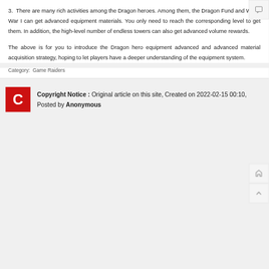3.  There are many rich activities among the Dragon heroes. Among them, the Dragon Fund and World War I can get advanced equipment materials. You only need to reach the corresponding level to get them. In addition, the high-level number of endless towers can also get advanced volume rewards.
The above is for you to introduce the Dragon hero equipment advanced and advanced material acquisition strategy, hoping to let players have a deeper understanding of the equipment system.
Category:  Game Raiders
Copyright Notice : Original article on this site, Created on 2022-02-15 00:10, Posted by Anonymous